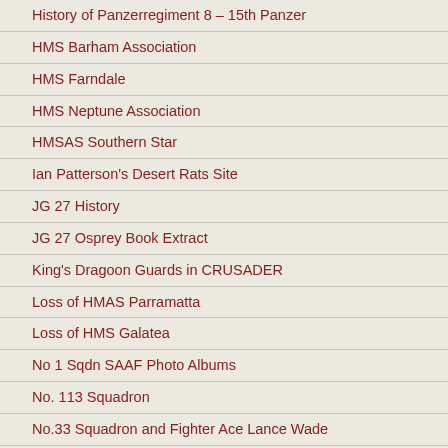History of Panzerregiment 8 – 15th Panzer
HMS Barham Association
HMS Farndale
HMS Neptune Association
HMSAS Southern Star
Ian Patterson's Desert Rats Site
JG 27 History
JG 27 Osprey Book Extract
King's Dragoon Guards in CRUSADER
Loss of HMAS Parramatta
Loss of HMS Galatea
No 1 Sqdn SAAF Photo Albums
No. 113 Squadron
No.33 Squadron and Fighter Ace Lance Wade
Obituary of Brigadier Pope